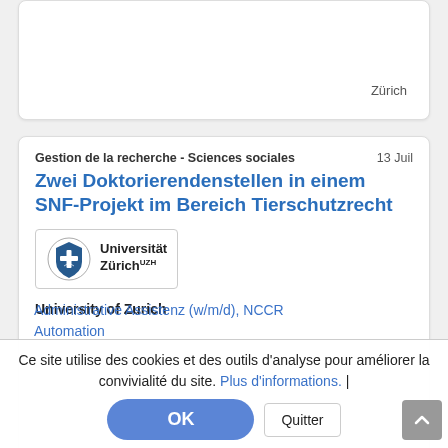Zürich
Gestion de la recherche - Sciences sociales   13 Juil
Zwei Doktorierendenstellen in einem SNF-Projekt im Bereich Tierschutzrecht
[Figure (logo): Universität Zürich logo with coat of arms icon]
University of Zurich
Zurich
Ce site utilise des cookies et des outils d'analyse pour améliorer la convivialité du site. Plus d'informations. |
OK
Quitter
Administrative Assistenz (w/m/d), NCCR Automation